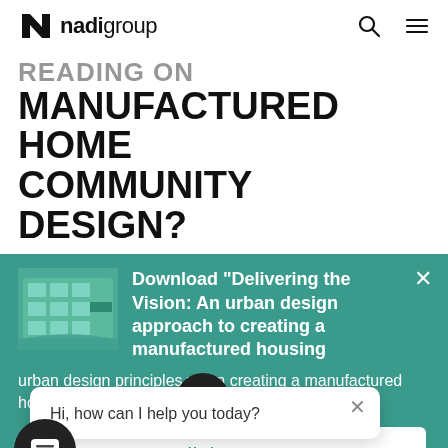nadi group
READING ON MANUFACTURED HOME COMMUNITY DESIGN?
[Figure (screenshot): Teal popup with aerial photo thumbnail and text: Download "Delivering the Vision: An urban design approach to creating a manufactured housing [community]" with body text about urban design principles when creating a manufactured home community. Includes a Click Here button and a chat widget popup saying 'Hi, how can I help you today?']